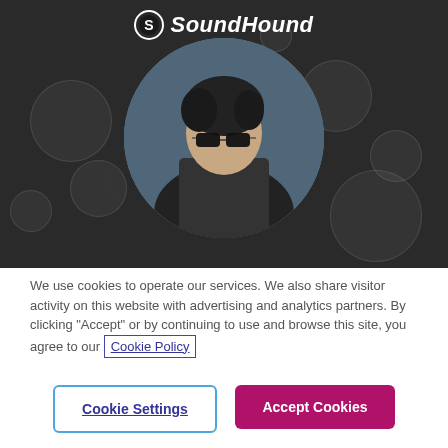[Figure (screenshot): SoundHound app screenshot with logo at top, dark background with bokeh circles, circular portrait of a person wearing sunglasses and dark jacket]
We use cookies to operate our services. We also share visitor activity on this website with advertising and analytics partners. By clicking “Accept” or by continuing to use and browse this site, you agree to our Cookie Policy
Cookie Settings
Accept Cookies